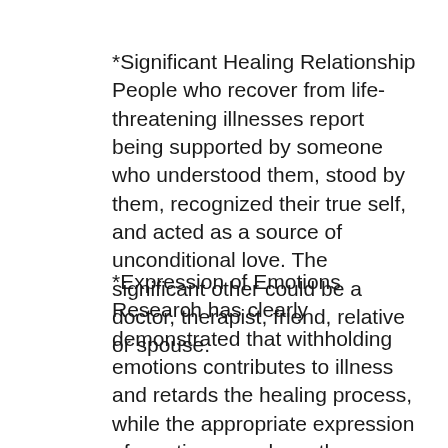*Significant Healing Relationship
People who recover from life-threatening illnesses report being supported by someone who understood them, stood by them, recognized their true self, and acted as a source of unconditional love. The significant other could be a doctor, therapist, friend, relative or spouse.
*Expression of Emotions
Research has clearly demonstrated that withholding emotions contributes to illness and retards the healing process, while the appropriate expression of emotion speeds up the healing process. This includes positive and negative emotions such as love, anger, grief, joy, sadness, hostility and